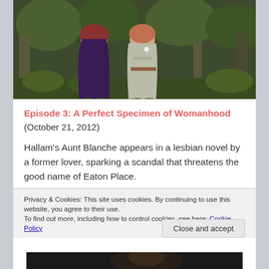[Figure (photo): Two women in costume standing in a forest setting with mossy trees and green foliage. One wears a dark purple cape, the other a light grey jacket with a floral pin.]
Episode 3: A Perfect Specimen of Womanhood
(October 21, 2012)
Hallam's Aunt Blanche appears in a lesbian novel by a former lover, sparking a scandal that threatens the good name of Eaton Place.
Privacy & Cookies: This site uses cookies. By continuing to use this website, you agree to their use.
To find out more, including how to control cookies, see here: Cookie Policy
Close and accept
[Figure (photo): Partial view of another photo at the bottom of the page, showing a dark scene.]